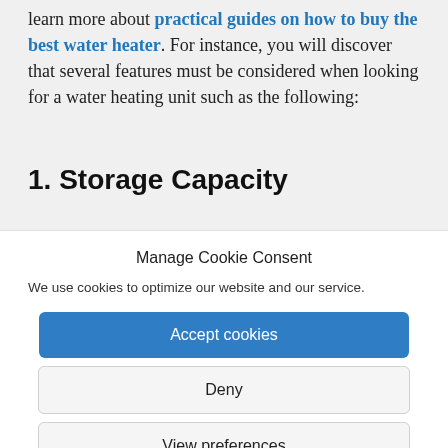learn more about practical guides on how to buy the best water heater. For instance, you will discover that several features must be considered when looking for a water heating unit such as the following:
1. Storage Capacity
Manage Cookie Consent
We use cookies to optimize our website and our service.
Accept cookies
Deny
View preferences